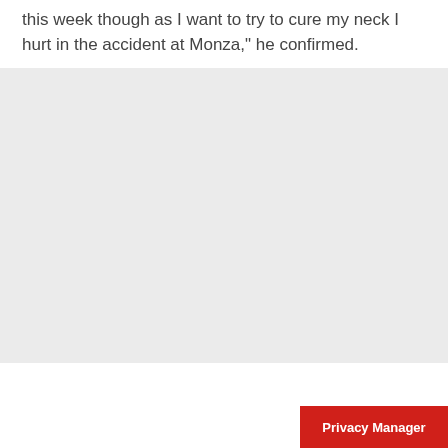this week though as I want to try to cure my neck I hurt in the accident at Monza," he confirmed.
[Figure (other): Large light gray placeholder/advertisement box]
Privacy Manager